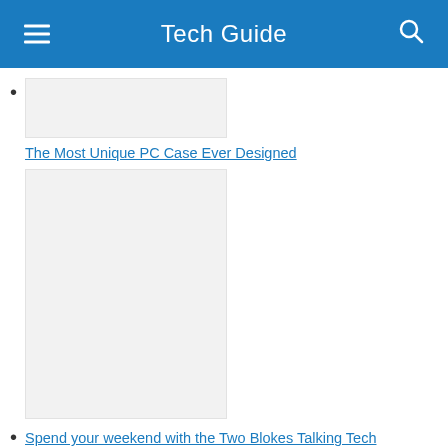Tech Guide
The Most Unique PC Case Ever Designed
Spend your weekend with the Two Blokes Talking Tech
Samsung's Odyssey Ark curved 55-inch screen provides